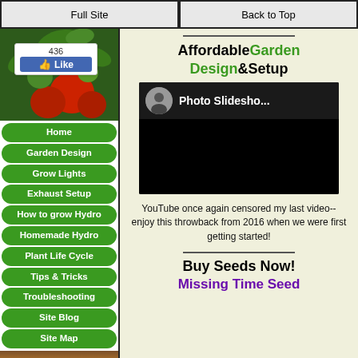Full Site | Back to Top
[Figure (screenshot): Tomato plant image with Facebook Like button showing 436 likes]
Home
Garden Design
Grow Lights
Exhaust Setup
How to grow Hydro
Homemade Hydro
Plant Life Cycle
Tips & Tricks
Troubleshooting
Site Blog
Site Map
AffordableGarden Design&Setup
[Figure (screenshot): YouTube video thumbnail showing Photo Slideshow with avatar]
YouTube once again censored my last video-- enjoy this throwback from 2016 when we were first getting started!
Buy Seeds Now!
Missing Time Seed